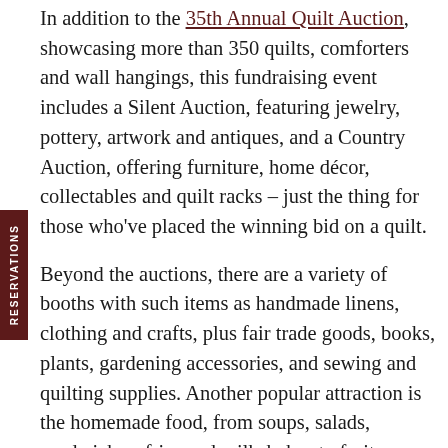In addition to the 35th Annual Quilt Auction, showcasing more than 350 quilts, comforters and wall hangings, this fundraising event includes a Silent Auction, featuring jewelry, pottery, artwork and antiques, and a Country Auction, offering furniture, home décor, collectables and quilt racks – just the thing for those who've placed the winning bid on a quilt.
Beyond the auctions, there are a variety of booths with such items as handmade linens, clothing and crafts, plus fair trade goods, books, plants, gardening accessories, and sewing and quilting supplies. Another popular attraction is the homemade food, from soups, salads, sandwiches, fries and milkshakes to fruit breads, donuts, apple dumplings and strawberry pie.